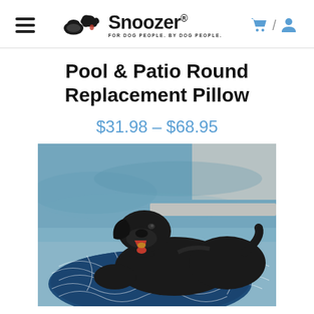Snoozer® — FOR DOG PEOPLE. BY DOG PEOPLE.
Pool & Patio Round Replacement Pillow
$31.98 – $68.95
[Figure (photo): A black Labrador dog lying on a round navy blue and white geometric-patterned pillow outside by a swimming pool.]